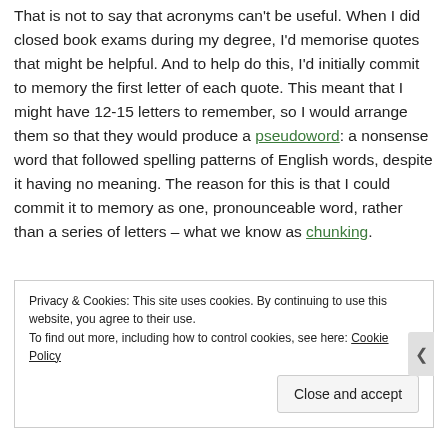That is not to say that acronyms can't be useful. When I did closed book exams during my degree, I'd memorise quotes that might be helpful. And to help do this, I'd initially commit to memory the first letter of each quote. This meant that I might have 12-15 letters to remember, so I would arrange them so that they would produce a pseudoword: a nonsense word that followed spelling patterns of English words, despite it having no meaning. The reason for this is that I could commit it to memory as one, pronounceable word, rather than a series of letters – what we know as chunking.
Privacy & Cookies: This site uses cookies. By continuing to use this website, you agree to their use. To find out more, including how to control cookies, see here: Cookie Policy